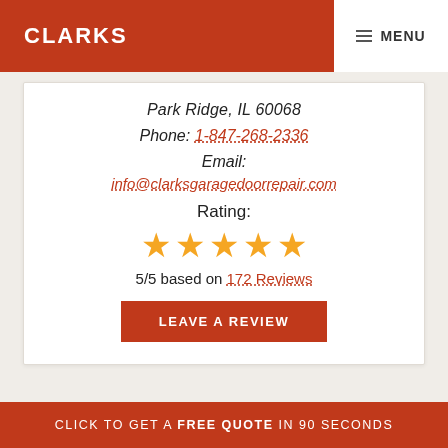CLARKS | MENU
Park Ridge, IL 60068
Phone: 1-847-268-2336
Email:
info@clarksgaragedoorrepair.com
Rating:
[Figure (other): Five gold stars rating display]
5/5 based on 172 Reviews
LEAVE A REVIEW
CLICK TO GET A FREE QUOTE IN 90 SECONDS